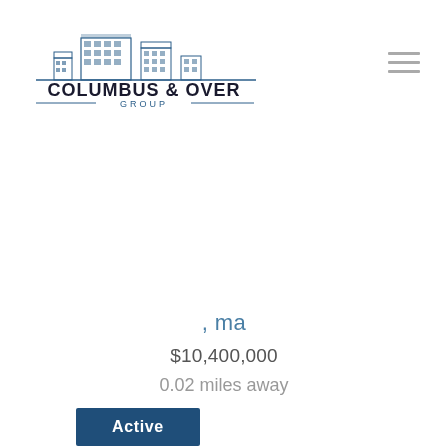[Figure (logo): Columbus & Over Group logo with building illustration and text]
, ma
$10,400,000
0.02 miles away
Active